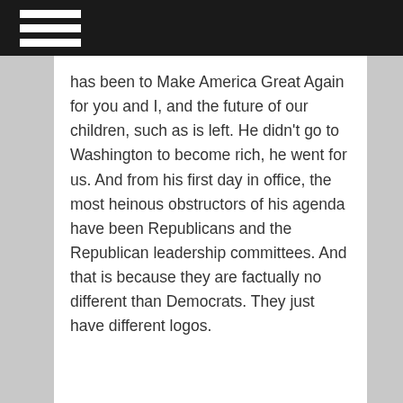has been to Make America Great Again for you and I, and the future of our children, such as is left. He didn’t go to Washington to become rich, he went for us. And from his first day in office, the most heinous obstructors of his agenda have been Republicans and the Republican leadership committees. And that is because they are factually no different than Democrats. They just have different logos.